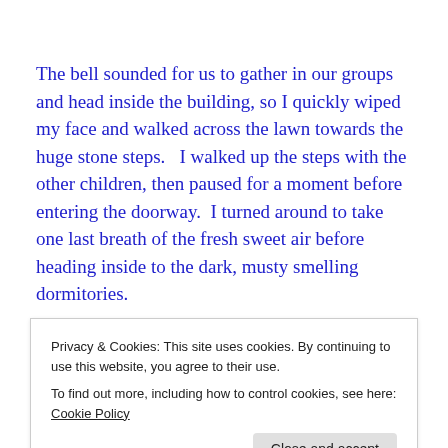The bell sounded for us to gather in our groups and head inside the building, so I quickly wiped my face and walked across the lawn towards the huge stone steps.   I walked up the steps with the other children, then paused for a moment before entering the doorway.  I turned around to take one last breath of the fresh sweet air before heading inside to the dark, musty smelling dormitories.
It was then that I noticed…there on the horizon in the
Privacy & Cookies: This site uses cookies. By continuing to use this website, you agree to their use.
To find out more, including how to control cookies, see here: Cookie Policy
wish tonight.